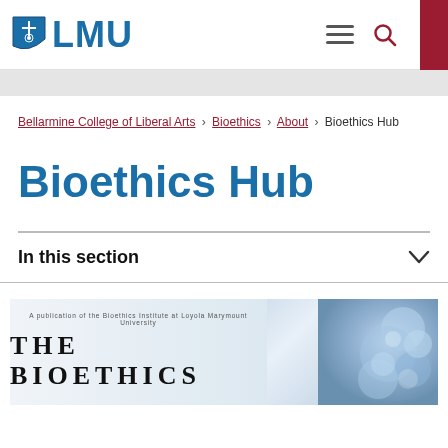LMU
Bellarmine College of Liberal Arts > Bioethics > About > Bioethics Hub
Bioethics Hub
In this section
[Figure (photo): Image banner showing text 'THE BIOETHICS' with a blurred DNA/molecular background on the right side. Small text above reads 'A publication of the Bioethics Institute at Loyola Marymount University'.]